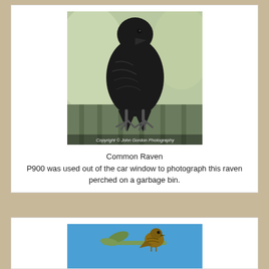[Figure (photo): A large black Common Raven perched on a green metal railing or garbage bin lid, photographed close up. The bird faces the camera, showing detailed black feathers and strong clawed feet. Background is blurred greenery. Copyright watermark reads 'Copyright © John Gordon Photography'.]
Common Raven
P900 was used out of the car window to photograph this raven perched on a garbage bin.
[Figure (photo): A small bird (possibly a chipmunk or sparrow) perched on a pine branch against a bright blue sky background.]